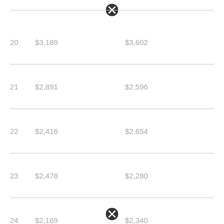|  | Col1 | Col2 |
| --- | --- | --- |
| 20 | $3,189 | $3,602 |
| 21 | $2,891 | $2,596 |
| 22 | $2,416 | $2,654 |
| 23 | $2,478 | $2,280 |
| 24 | $2,169 | $2,340 |